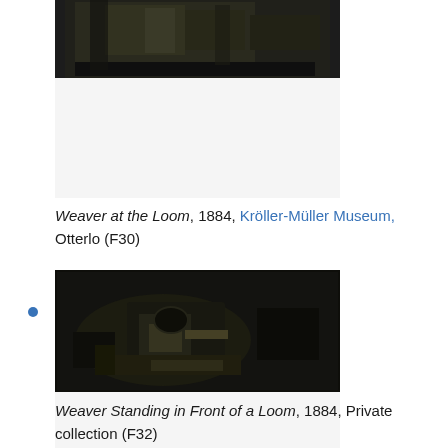[Figure (photo): Painting of a Weaver at the Loom, dark tones, 1884]
Weaver at the Loom, 1884, Kröller-Müller Museum, Otterlo (F30)
[Figure (photo): Painting of Weaver Standing in Front of a Loom, dark tones, 1884]
Weaver Standing in Front of a Loom, 1884, Private collection (F32)
[Figure (photo): Partial checkerboard placeholder image for next list item]